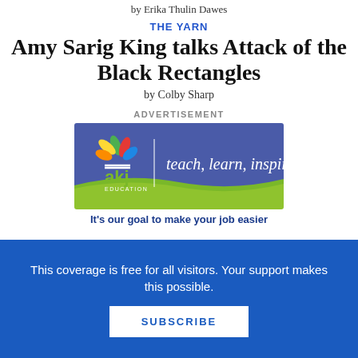by Erika Thulin Dawes
THE YARN
Amy Sarig King talks Attack of the Black Rectangles
by Colby Sharp
ADVERTISEMENT
[Figure (logo): AKJ Education advertisement banner with colorful leaf logo, text 'teach, learn, inspire' on blue/green background]
It's our goal to make your job easier
This coverage is free for all visitors. Your support makes this possible.
SUBSCRIBE